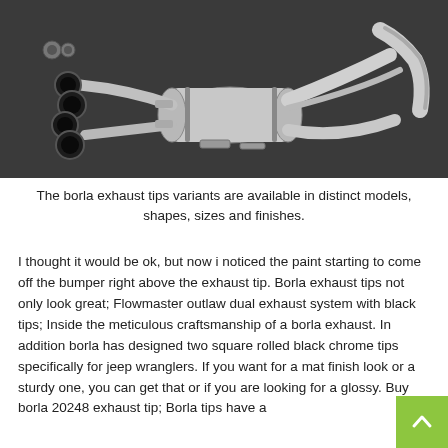[Figure (photo): Product photo of a Borla exhaust system with multiple pipes, muffler, and black exhaust tips displayed on a dark gray background.]
The borla exhaust tips variants are available in distinct models, shapes, sizes and finishes.
I thought it would be ok, but now i noticed the paint starting to come off the bumper right above the exhaust tip. Borla exhaust tips not only look great; Flowmaster outlaw dual exhaust system with black tips; Inside the meticulous craftsmanship of a borla exhaust. In addition borla has designed two square rolled black chrome tips specifically for jeep wranglers. If you want for a mat finish look or a sturdy one, you can get that or if you are looking for a glossy. Buy borla 20248 exhaust tip; Borla tips have a